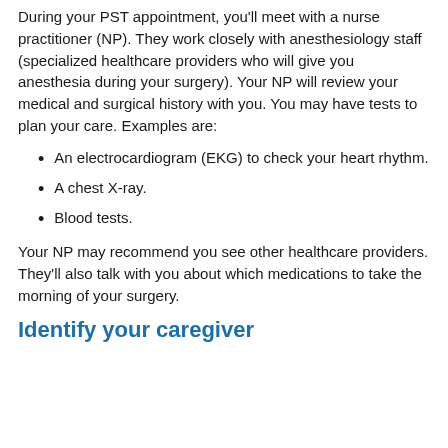During your PST appointment, you'll meet with a nurse practitioner (NP). They work closely with anesthesiology staff (specialized healthcare providers who will give you anesthesia during your surgery). Your NP will review your medical and surgical history with you. You may have tests to plan your care. Examples are:
An electrocardiogram (EKG) to check your heart rhythm.
A chest X-ray.
Blood tests.
Your NP may recommend you see other healthcare providers. They'll also talk with you about which medications to take the morning of your surgery.
Identify your caregiver